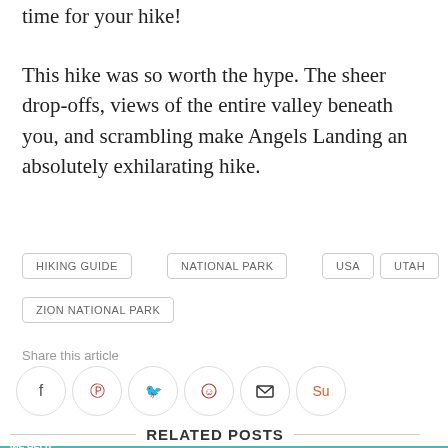time for your hike!
This hike was so worth the hype. The sheer drop-offs, views of the entire valley beneath you, and scrambling make Angels Landing an absolutely exhilarating hike.
HIKING GUIDE
NATIONAL PARK
USA
UTAH
ZION NATIONAL PARK
Share this article
[Figure (infographic): Social share icons: Facebook, Pinterest, Twitter, Reddit, Email, StumbleUpon]
RELATED POSTS
[Figure (infographic): Advertisement banner: SHE Partner Network - We help content creators grow businesses through... Learn More]